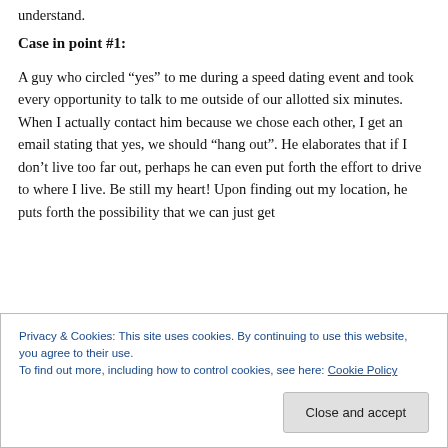understand.
Case in point #1:
A guy who circled “yes” to me during a speed dating event and took every opportunity to talk to me outside of our allotted six minutes. When I actually contact him because we chose each other, I get an email stating that yes, we should “hang out”. He elaborates that if I don’t live too far out, perhaps he can even put forth the effort to drive to where I live. Be still my heart! Upon finding out my location, he puts forth the possibility that we can just get
Privacy & Cookies: This site uses cookies. By continuing to use this website, you agree to their use.
To find out more, including how to control cookies, see here: Cookie Policy
[Close and accept]